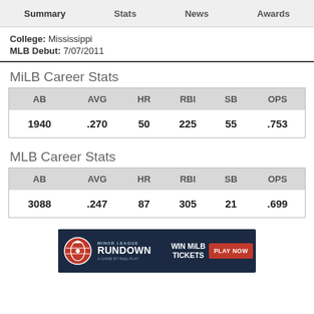Summary  Stats  News  Awards
College: Mississippi
MLB Debut: 7/07/2011
MiLB Career Stats
| AB | AVG | HR | RBI | SB | OPS |
| --- | --- | --- | --- | --- | --- |
| 1940 | .270 | 50 | 225 | 55 | .753 |
MLB Career Stats
| AB | AVG | HR | RBI | SB | OPS |
| --- | --- | --- | --- | --- | --- |
| 3088 | .247 | 87 | 305 | 21 | .699 |
[Figure (infographic): Minor League Rundown advertisement banner: dark navy background with MiLB logo, 'MINOR LEAGUE RUNDOWN' text, 'WIN MiLB TICKETS' text, and a red 'PLAY NOW' button.]